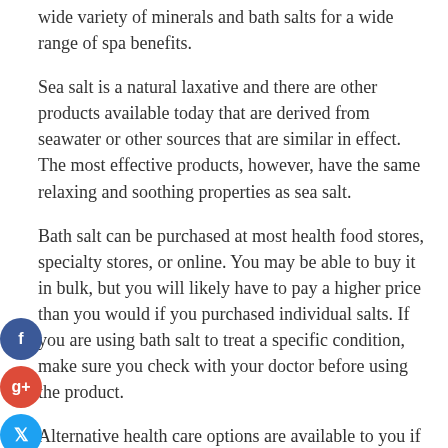wide variety of minerals and bath salts for a wide range of spa benefits.
Sea salt is a natural laxative and there are other products available today that are derived from seawater or other sources that are similar in effect. The most effective products, however, have the same relaxing and soothing properties as sea salt.
Bath salt can be purchased at most health food stores, specialty stores, or online. You may be able to buy it in bulk, but you will likely have to pay a higher price than you would if you purchased individual salts. If you are using bath salt to treat a specific condition, make sure you check with your doctor before using the product.
Alternative health care options are available to you if you decide you are not able to afford the expensive prescriptions that are available to you today. Natural remedies such as